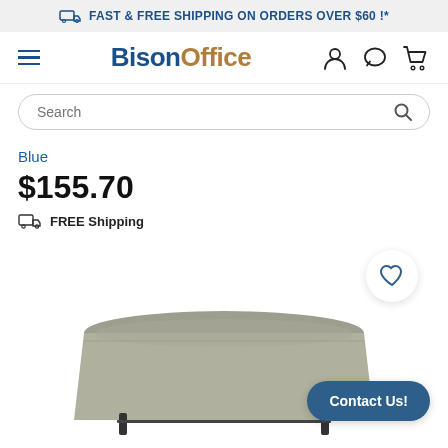FAST & FREE SHIPPING ON ORDERS OVER $60 !*
[Figure (screenshot): BisonOffice website navigation bar with hamburger menu, logo, user icon, chat icon, and cart icon]
[Figure (screenshot): Search bar with search icon]
Blue
$155.70
FREE Shipping
[Figure (photo): Gray tablecloth draped over a folding table, partially shown at the bottom of the page. A wishlist heart icon button and a Contact Us button overlay the image.]